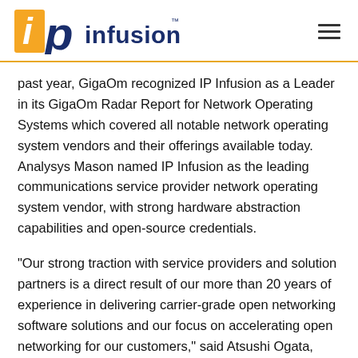IP Infusion logo and navigation
past year, GigaOm recognized IP Infusion as a Leader in its GigaOm Radar Report for Network Operating Systems which covered all notable network operating system vendors and their offerings available today. Analysys Mason named IP Infusion as the leading communications service provider network operating system vendor, with strong hardware abstraction capabilities and open-source credentials.
"Our strong traction with service providers and solution partners is a direct result of our more than 20 years of experience in delivering carrier-grade open networking software solutions and our focus on accelerating open networking for our customers," said Atsushi Ogata, President and CEO of IP Infusion. "The customer momentum validates our dedication on providing